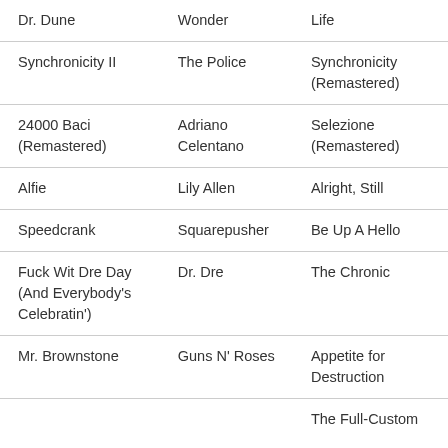| Dr. Dune | Wonder | Life |
| Synchronicity II | The Police | Synchronicity (Remastered) |
| 24000 Baci (Remastered) | Adriano Celentano | Selezione (Remastered) |
| Alfie | Lily Allen | Alright, Still |
| Speedcrank | Squarepusher | Be Up A Hello |
| Fuck Wit Dre Day (And Everybody's Celebratin') | Dr. Dre | The Chronic |
| Mr. Brownstone | Guns N' Roses | Appetite for Destruction |
|  |  | The Full-Custom |